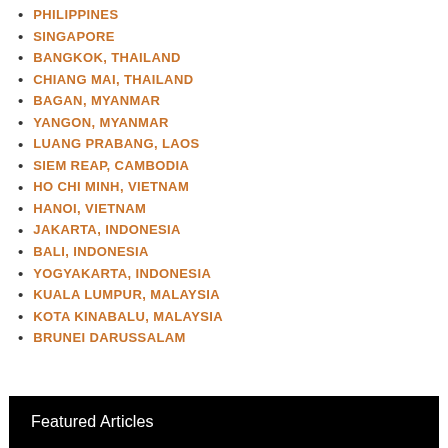PHILIPPINES
SINGAPORE
BANGKOK, THAILAND
CHIANG MAI, THAILAND
BAGAN, MYANMAR
YANGON, MYANMAR
LUANG PRABANG, LAOS
SIEM REAP, CAMBODIA
HO CHI MINH, VIETNAM
HANOI, VIETNAM
JAKARTA, INDONESIA
BALI, INDONESIA
YOGYAKARTA, INDONESIA
KUALA LUMPUR, MALAYSIA
KOTA KINABALU, MALAYSIA
BRUNEI DARUSSALAM
Featured Articles